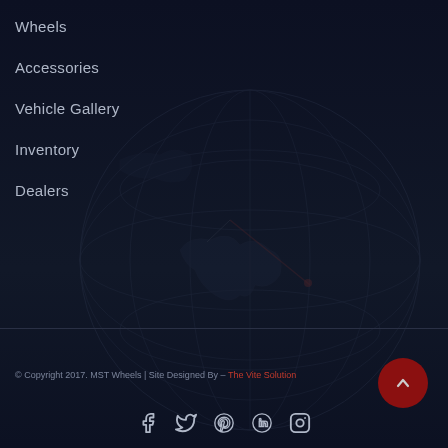Wheels
Accessories
Vehicle Gallery
Inventory
Dealers
© Copyright 2017. MST Wheels | Site Designed By – The Vite Solution
[Figure (other): Social media icons: Facebook, Twitter, Pinterest, Google+, Instagram]